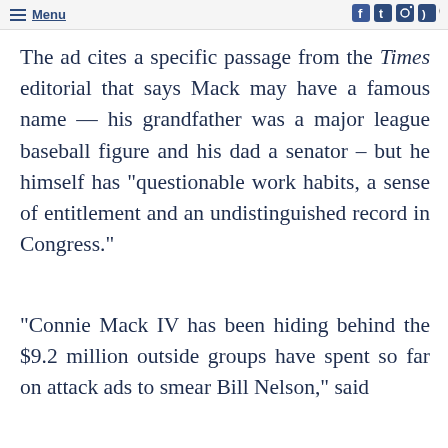Menu
The ad cites a specific passage from the Times editorial that says Mack may have a famous name — his grandfather was a major league baseball figure and his dad a senator – but he himself has “questionable work habits, a sense of entitlement and an undistinguished record in Congress.”
“Connie Mack IV has been hiding behind the $9.2 million outside groups have spent so far on attack ads to smear Bill Nelson,” said Nelson Campaign Manager Pat...